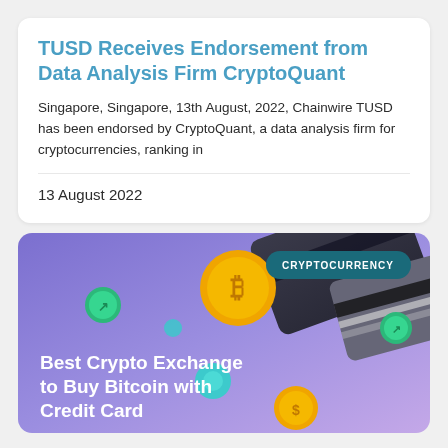TUSD Receives Endorsement from Data Analysis Firm CryptoQuant
Singapore, Singapore, 13th August, 2022, Chainwire TUSD has been endorsed by CryptoQuant, a data analysis firm for cryptocurrencies, ranking in
13 August 2022
[Figure (illustration): Purple/lavender gradient background with 3D rendered crypto coins (Bitcoin gold coin, green coins with arrows), credit cards (dark card and black/white striped card), teal spheres, and a teal badge reading 'CRYPTOCURRENCY' in the top right. Bold white text reads 'Best Crypto Exchange to Buy Bitcoin with Credit Card'.]